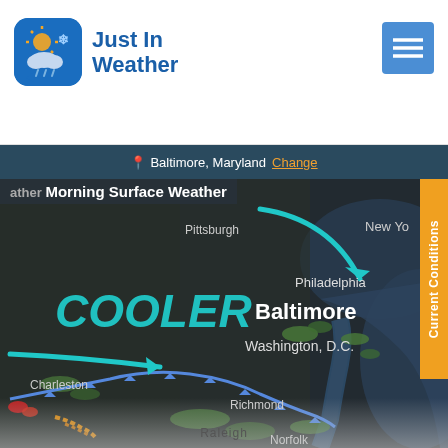[Figure (logo): Just In Weather app logo with blue rounded square icon showing sun/snow/rain and speech bubble, beside text 'Just In Weather' in bold blue]
[Figure (screenshot): Hamburger menu button (three horizontal lines) on a blue background in the top right corner]
📍 Baltimore, Maryland  Change
[Figure (map): Morning Surface Weather map showing US East Coast including Pittsburgh, Philadelphia, Baltimore, Washington D.C., Charleston, Richmond, Norfolk. Large teal 'COOLER' text with two teal arrows indicating cool air flow. A cold front shown as blue line with triangles. Green moisture areas visible. Orange/red weather markers in lower left. New York partially visible upper right. Faded Raleigh area at bottom.]